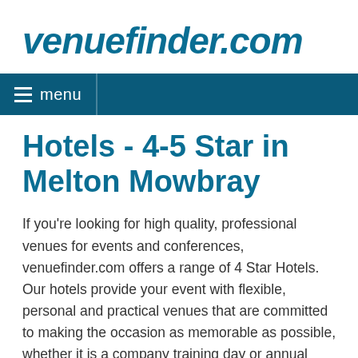venuefinder.com
menu
Hotels - 4-5 Star in Melton Mowbray
If you're looking for high quality, professional venues for events and conferences, venuefinder.com offers a range of 4 Star Hotels. Our hotels provide your event with flexible, personal and practical venues that are committed to making the occasion as memorable as possible, whether it is a company training day or annual general meeting. Ranging from primarily business focused hotels to familiar brand names like Hilton and Mercure, these venues regularly host corporate